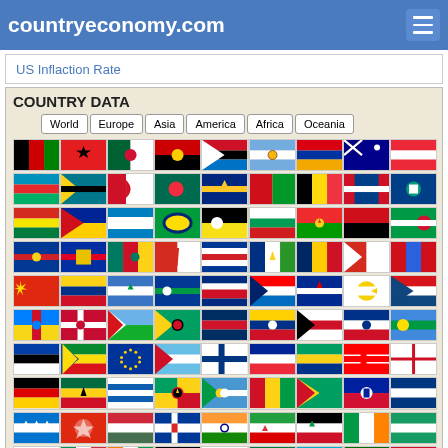countryeconomy.com
US Inflaction Rate
COUNTRY DATA
World | Europe | Asia | America | Africa | Oceania
[Figure (infographic): Grid of country flags displayed in rows, showing flags of countries from Afghanistan through Liechtenstein and beyond, arranged alphabetically in a 9-column grid layout.]